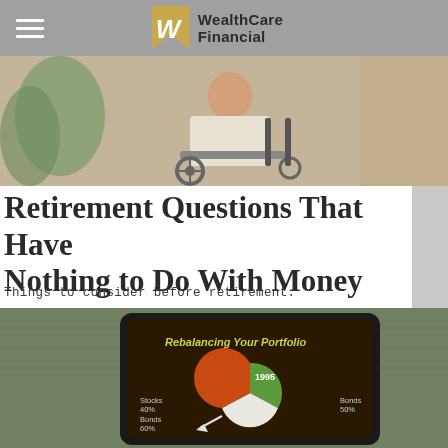WealthCare Financial
[Figure (photo): Elderly person sitting in a wheelchair, indoor setting with plants, wearing a white shirt]
Retirement Questions That Have Nothing to Do With Money
Things to consider before retirement.
[Figure (photo): Tablet device resting on a backpack, showing a 'Rebalancing Your Portfolio' infographic with a pie chart labeled 1995, Stocks 40%, Bonds 60%, Bonds 50%]